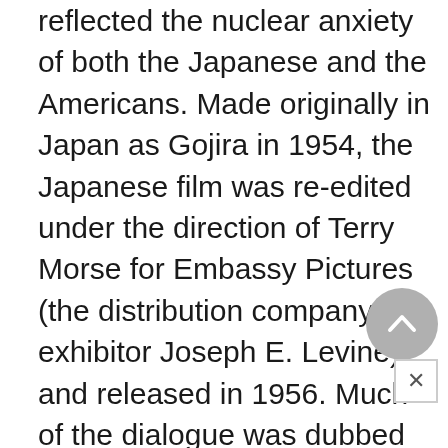reflected the nuclear anxiety of both the Japanese and the Americans. Made originally in Japan as Gojira in 1954, the Japanese film was re-edited under the direction of Terry Morse for Embassy Pictures (the distribution company of exhibitor Joseph E. Levine) and released in 1956. Much of the dialogue was dubbed into English, and scenes featuring Raymond Burr as narrator were added. The story unfolds as Burr, playing a newspaper reporter named Steve Martin,